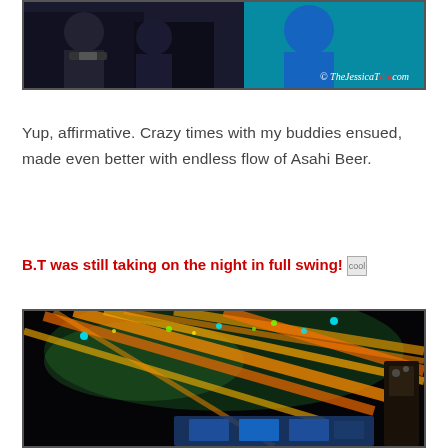[Figure (photo): Concert or event photo with people, teal/blue lighting in background, copyright watermark TheJessicaTdotcom in bottom right]
Yup, affirmative. Crazy times with my buddies ensued, made even better with endless flow of Asahi Beer.
B.T was still taking on the night in full swing! [cool emoji]
[Figure (photo): Concert stage with dramatic orange and yellow light beams crossing against dark background, spotlights visible, DJ equipment or stage setup at bottom]